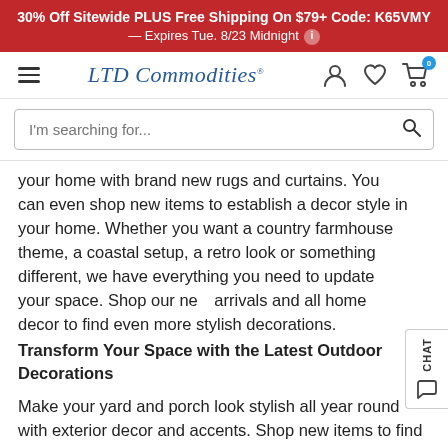30% Off Sitewide PLUS Free Shipping On $79+ Code: K65VMY — Expires Tue. 8/23 Midnight
[Figure (screenshot): LTD Commodities website navigation bar with hamburger menu, logo, user icon, heart/wishlist icon, and cart icon with badge showing 0]
[Figure (screenshot): Search bar with placeholder text 'I'm searching for...' and search icon]
your home with brand new rugs and curtains. You can even shop new items to establish a decor style in your home. Whether you want a country farmhouse theme, a coastal setup, a retro look or something different, we have everything you need to update your space. Shop our new arrivals and all home decor to find even more stylish decorations.
Transform Your Space with the Latest Outdoor Decorations
Make your yard and porch look stylish all year round with exterior decor and accents. Shop new items to find the latest selection of outdoor decorations for any season or...